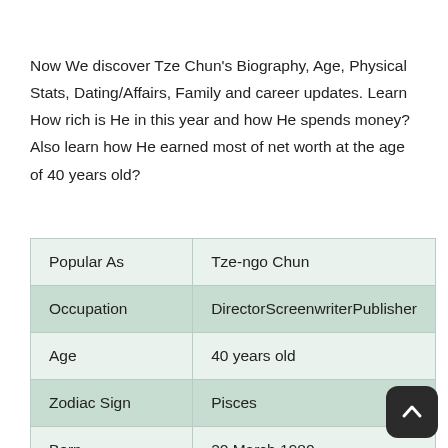Now We discover Tze Chun's Biography, Age, Physical Stats, Dating/Affairs, Family and career updates. Learn How rich is He in this year and how He spends money? Also learn how He earned most of net worth at the age of 40 years old?
| Popular As | Tze-ngo Chun |
| Occupation | DirectorScreenwriterPublisher |
| Age | 40 years old |
| Zodiac Sign | Pisces |
| Born | 20 March 1980 |